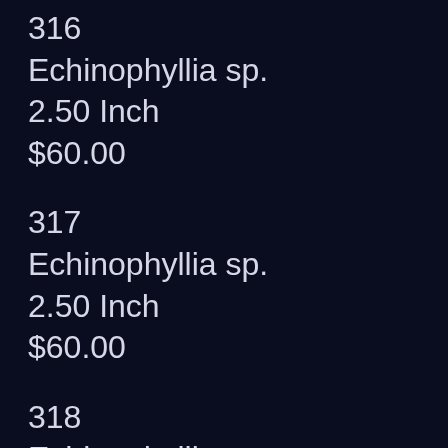316
Echinophyllia sp.
2.50 Inch
$60.00
317
Echinophyllia sp.
2.50 Inch
$60.00
318
Echinophyllia sp.
3.00 Inch